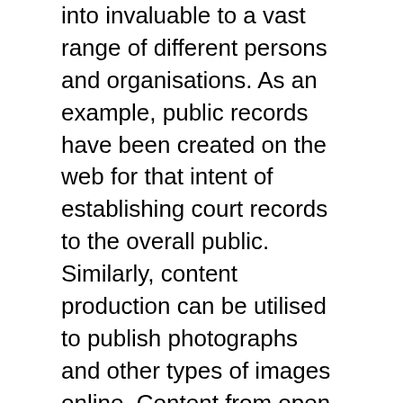into invaluable to a vast range of different persons and organisations. As an example, public records have been created on the web for that intent of establishing court records to the overall public. Similarly, content production can be utilised to publish photographs and other types of images online. Content from open records and out of publicly available resources serves as a useful purpose. This really is because it allows users to hunt through public record information to locate info about certain individuals, for instance.
One of the crucial goals of numerous organisations and businesses now will be to take advantage of digital media as a way to achieve a increased number of potential